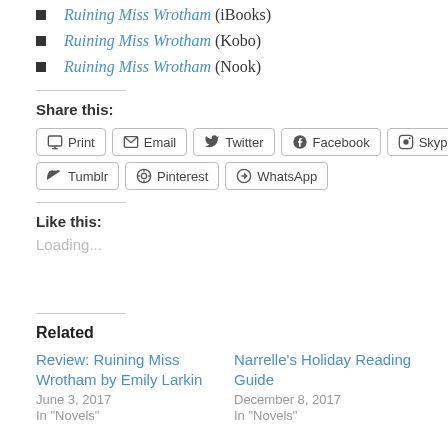Ruining Miss Wrotham (iBooks)
Ruining Miss Wrotham (Kobo)
Ruining Miss Wrotham (Nook)
Share this:
Print  Email  Twitter  Facebook  Skype  Tumblr  Pinterest  WhatsApp
Like this:
Loading...
Related
Review: Ruining Miss Wrotham by Emily Larkin
June 3, 2017
In "Novels"
Narrelle's Holiday Reading Guide
December 8, 2017
In "Novels"